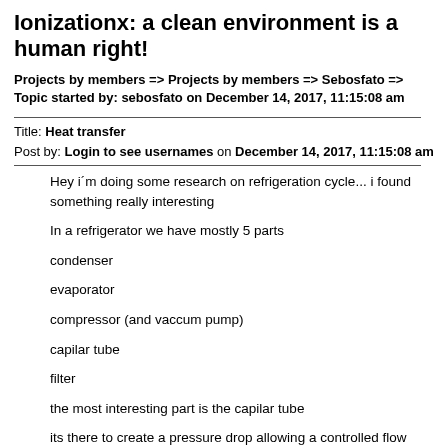Ionizationx: a clean environment is a human right!
Projects by members => Projects by members => Sebosfato => Topic started by: sebosfato on December 14, 2017, 11:15:08 am
Title: Heat transfer
Post by: Login to see usernames on December 14, 2017, 11:15:08 am
Hey i´m doing some research on refrigeration cycle... i found something really interesting
In a refrigerator we have mostly 5 parts
condenser
evaporator
compressor (and vaccum pump)
capilar tube
filter
the most interesting part is the capilar tube
its there to create a pressure drop allowing a controlled flow